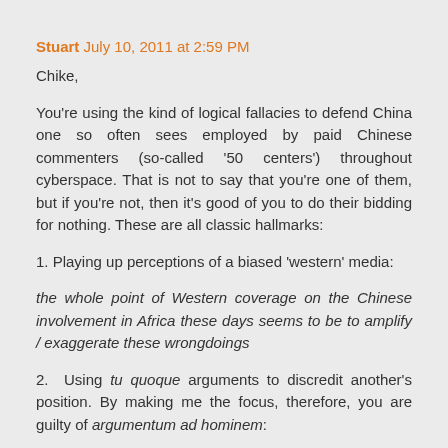Stuart July 10, 2011 at 2:59 PM
Chike,
You're using the kind of logical fallacies to defend China one so often sees employed by paid Chinese commenters (so-called '50 centers') throughout cyberspace. That is not to say that you're one of them, but if you're not, then it's good of you to do their bidding for nothing. These are all classic hallmarks:
1. Playing up perceptions of a biased 'western' media:
the whole point of Western coverage on the Chinese involvement in Africa these days seems to be to amplify / exaggerate these wrongdoings
2. Using tu quoque arguments to discredit another's position. By making me the focus, therefore, you are guilty of argumentum ad hominem: